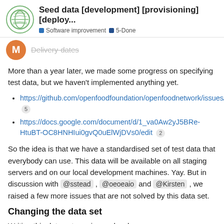Seed data [development] [provisioning] [deploy... | Software improvement | 5-Done
Delivery-dates (avatar label, struck through)
More than a year later, we made some progress on specifying test data, but we haven't implemented anything yet.
https://github.com/openfoodfoundation/openfoodnetwork/issues/2072  5
https://docs.google.com/document/d/1_va0Aw2yJ5BRe-HtuBT-OC8HNHIui0gvQ0uElWjDVs0/edit  2
So the idea is that we have a standardised set of test data that everybody can use. This data will be available on all staging servers and on our local development machines. Yay. But in discussion with @sstead , @oeoeaio and @Kirsten , we raised a few more issues that are not solved by this data set.
Changing the data set
Writing this data set requires a developer a... laboursome than creating the data through...
3 / 25